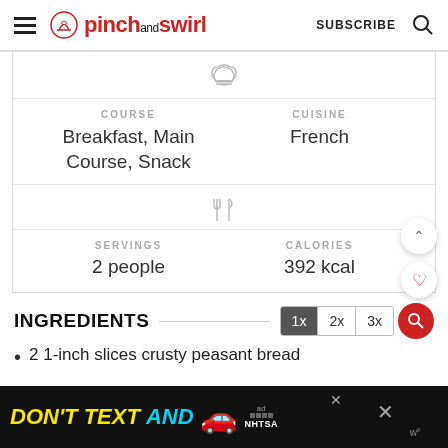pinch and swirl — SUBSCRIBE
COURSE: Breakfast, Main Course, Snack
CUISINE: French
SERVINGS: 2 people
CALORIES: 392 kcal
INGREDIENTS
2 1-inch slices crusty peasant bread